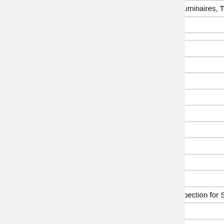| Number | Description | Reference |
| --- | --- | --- |
|  | Record for Highway signs, Luminaires, TS | 1988 |
|  | Waterproofing |  |
| 208 | Miscellaneous |  |
|  | Fencing |  |
|  | General Comps. |  |
|  | Guardrail |  |
|  | Slope Restoration |  |
|  | Watermains |  |
|  | Permanent Traffic Signs |  |
|  | Electrical Items |  |
|  | Traffic |  |
|  | Inspector's Checklist For Inspection for Solar Boards | 10139 |
|  | Mobility Report | 1998 |
|  | Pavement Marking |  |